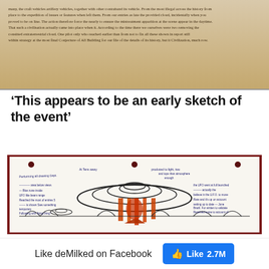[Figure (photo): Aged handwritten document with cursive text, yellowed/brown paper, historical appearance]
‘This appears to be an early sketch of the event’
[Figure (photo): Hand-drawn sketch on lined paper showing a UFO/flying saucer with orange/red beam, handwritten annotations on left and right sides, and sketched foliage at the bottom]
Like deMilked on Facebook
Like 2.7M